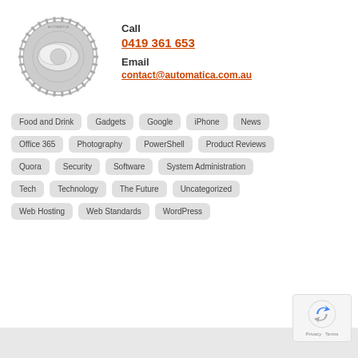[Figure (logo): Automatica gear/cog logo in grey]
Call
0419 361 653

Email
contact@automatica.com.au
Food and Drink
Gadgets
Google
iPhone
News
Office 365
Photography
PowerShell
Product Reviews
Quora
Security
Software
System Administration
Tech
Technology
The Future
Uncategorized
Web Hosting
Web Standards
WordPress
[Figure (logo): reCAPTCHA widget with Privacy and Terms links]